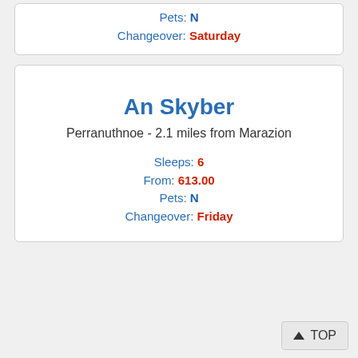Pets: N
Changeover: Saturday
An Skyber
Perranuthnoe - 2.1 miles from Marazion
Sleeps: 6
From: 613.00
Pets: N
Changeover: Friday